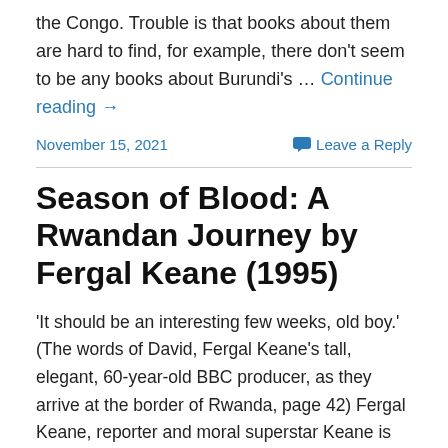the Congo. Trouble is that books about them are hard to find, for example, there don't seem to be any books about Burundi's … Continue reading →
November 15, 2021    Leave a Reply
Season of Blood: A Rwandan Journey by Fergal Keane (1995)
'It should be an interesting few weeks, old boy.' (The words of David, Fergal Keane's tall, elegant, 60-year-old BBC producer, as they arrive at the border of Rwanda, page 42) Fergal Keane, reporter and moral superstar Keane is an award-winning BBC foreign correspondent and writer. This is a … Continue reading →